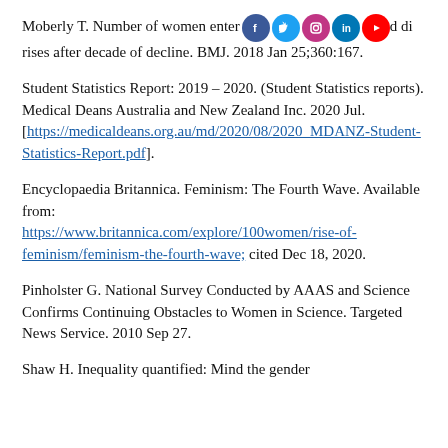Moberly T. Number of women entering [social icons] do [social icons] rises after decade of decline. BMJ. 2018 Jan 25;360:167.
Student Statistics Report: 2019 – 2020. (Student Statistics reports). Medical Deans Australia and New Zealand Inc. 2020 Jul. [https://medicaldeans.org.au/md/2020/08/2020_MDANZ-Student-Statistics-Report.pdf].
Encyclopaedia Britannica. Feminism: The Fourth Wave. Available from: https://www.britannica.com/explore/100women/rise-of-feminism/feminism-the-fourth-wave; cited Dec 18, 2020.
Pinholster G. National Survey Conducted by AAAS and Science Confirms Continuing Obstacles to Women in Science. Targeted News Service. 2010 Sep 27.
Shaw H. Inequality quantified: Mind the gender...